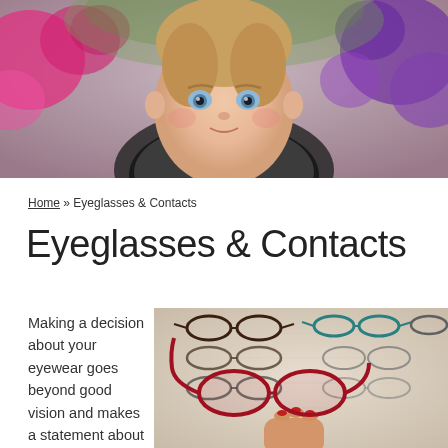[Figure (photo): Close-up portrait of a young child with blue eyes wearing a black and white checkered outfit, with colorful flowers in the background]
Home » Eyeglasses & Contacts
Eyeglasses & Contacts
Making a decision about your eyewear goes beyond good vision and makes a statement about who
[Figure (photo): Hand holding a pair of red-framed eyeglasses in front of a wall display of multiple eyeglasses frames]